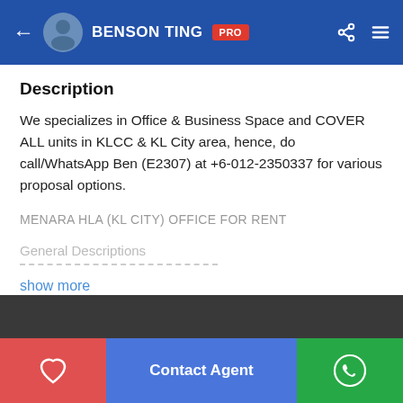BENSON TING PRO
Description
We specializes in Office & Business Space and COVER ALL units in KLCC & KL City area, hence, do call/WhatsApp Ben (E2307) at +6-012-2350337 for various proposal options.
MENARA HLA (KL CITY) OFFICE FOR RENT
General Descriptions
show more
Location